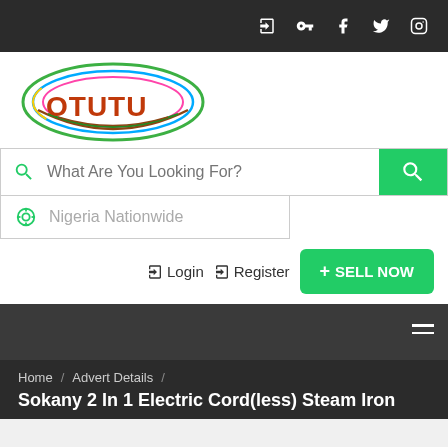Top navigation bar with social/login icons
[Figure (logo): OTUTU logo with colorful oval lines above the brand name in orange-brown text]
What Are You Looking For?
Nigeria Nationwide
Login   Register   + SELL NOW
Home / Advert Details / Sokany 2 In 1 Electric Cord(less) Steam Iron